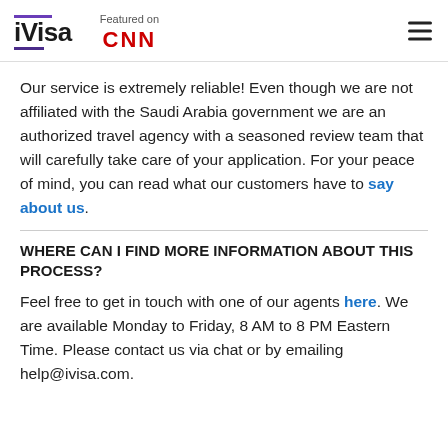iVisa — Featured on CNN
Our service is extremely reliable! Even though we are not affiliated with the Saudi Arabia government we are an authorized travel agency with a seasoned review team that will carefully take care of your application. For your peace of mind, you can read what our customers have to say about us.
WHERE CAN I FIND MORE INFORMATION ABOUT THIS PROCESS?
Feel free to get in touch with one of our agents here. We are available Monday to Friday, 8 AM to 8 PM Eastern Time. Please contact us via chat or by emailing help@ivisa.com.